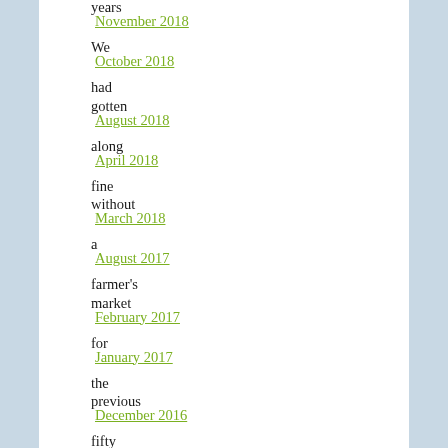years / November 2018
We / October 2018
had
gotten / August 2018
along / April 2018
fine
without / March 2018
a / August 2017
farmer's
market / February 2017
for / January 2017
the
previous / December 2016
fifty / November 2016
some
years / September 2016
we / August 2016
have
lived / July 2016
in / June 2016
Bloomington,
but / May 2016
now